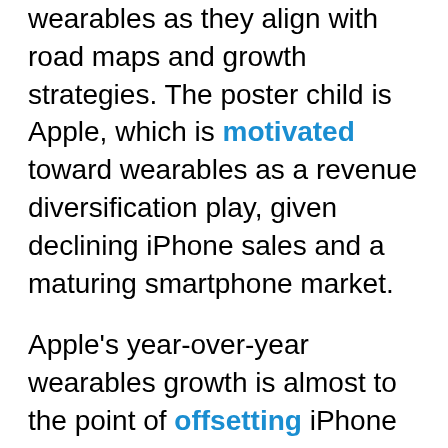wearables as they align with road maps and growth strategies. The poster child is Apple, which is motivated toward wearables as a revenue diversification play, given declining iPhone sales and a maturing smartphone market.
Apple's year-over-year wearables growth is almost to the point of offsetting iPhone sales declines. Wearables also represent a long-term strategy to future-proof Apple's multi-device ecosystem approach, consisting of Watch, AirPods, and (soon) smart glasses.
Apple is hoping that this device-constellation approach will collectively achieve holistic sensory augmentation where the whole is greater than the sum of its parts. It's